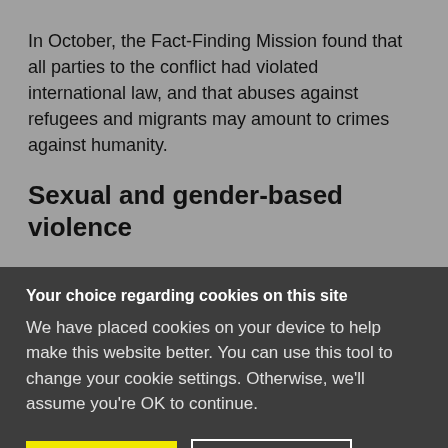In October, the Fact-Finding Mission found that all parties to the conflict had violated international law, and that abuses against refugees and migrants may amount to crimes against humanity.
Sexual and gender-based violence
Your choice regarding cookies on this site
We have placed cookies on your device to help make this website better. You can use this tool to change your cookie settings. Otherwise, we'll assume you're OK to continue.